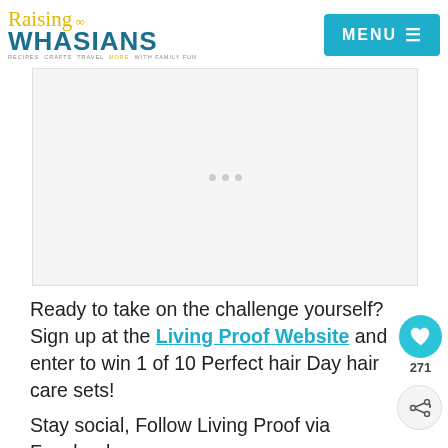Raising Whasians — RECIPES, CRAFTS, TRAVEL, MORE WITH FAMILY FUN
[Figure (other): Advertisement placeholder with three gray dots in the center, light gray background]
Ready to take on the challenge yourself? Sign up at the Living Proof Website and enter to win 1 of 10 Perfect hair Day hair care sets!
Stay social, Follow Living Proof via Facebook